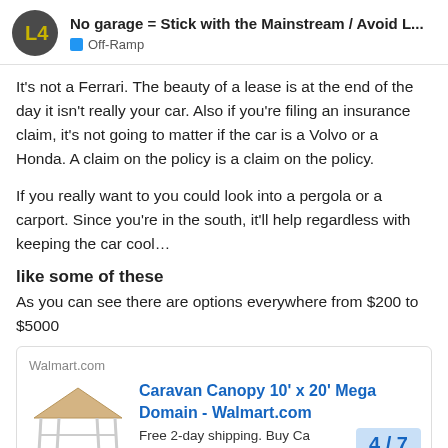No garage = Stick with the Mainstream / Avoid L... | Off-Ramp
It's not a Ferrari. The beauty of a lease is at the end of the day it isn't really your car. Also if you're filing an insurance claim, it's not going to matter if the car is a Volvo or a Honda. A claim on the policy is a claim on the policy.
If you really want to you could look into a pergola or a carport. Since you're in the south, it'll help regardless with keeping the car cool…
like some of these
As you can see there are options everywhere from $200 to $5000
[Figure (screenshot): Walmart.com ad card showing a Caravan Canopy 10' x 20' Mega Domain product with a canopy image and 'Free 2-day shipping. Buy Ca...' text]
4 / 7